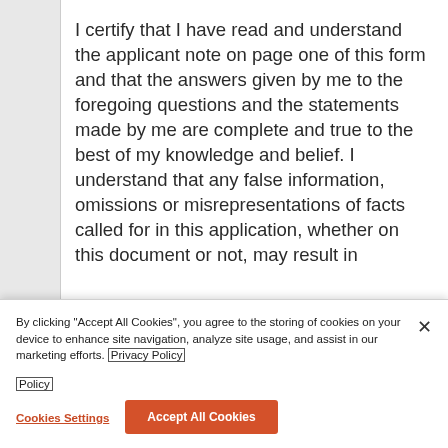I certify that I have read and understand the applicant note on page one of this form and that the answers given by me to the foregoing questions and the statements made by me are complete and true to the best of my knowledge and belief. I understand that any false information, omissions or misrepresentations of facts called for in this application, whether on this document or not, may result in
By clicking "Accept All Cookies", you agree to the storing of cookies on your device to enhance site navigation, analyze site usage, and assist in our marketing efforts. Privacy Policy
Cookies Settings
Accept All Cookies